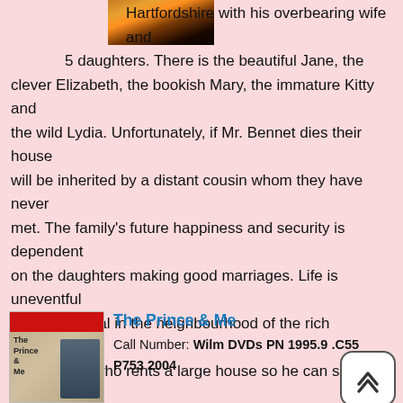[Figure (photo): Book/DVD cover image at top, dark with orange/sunset tones]
Hartfordshire with his overbearing wife and 5 daughters. There is the beautiful Jane, the clever Elizabeth, the bookish Mary, the immature Kitty and the wild Lydia. Unfortunately, if Mr. Bennet dies their house will be inherited by a distant cousin whom they have never met. The family's future happiness and security is dependent on the daughters making good marriages. Life is uneventful until the arrival in the neighbourhood of the rich gentleman Mr. Bingley, who rents a large house so he can spend the summer in the country. Mr Bingley brings with him his sister and the dashing, rich, but proud Mr. Darcy. Love soon buds for one of the Bennet sisters, while another sister may have jumped to a hasty prejudgment. For the Bennet sisters many trials and tribulations stand between them and their happiness.
[Figure (photo): DVD cover for The Prince & Me showing two people]
The Prince & Me
Call Number: Wilm DVDs PN 1995.9 .C55 P753 2004